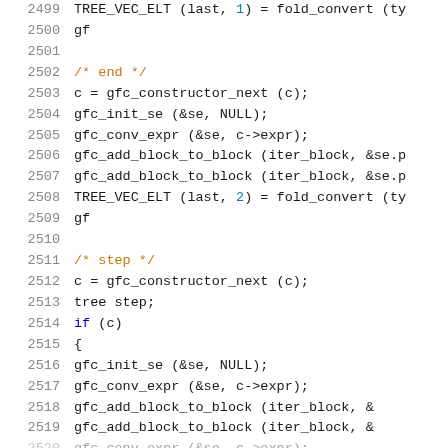[Figure (screenshot): Source code listing in C showing lines 2499-2520, with line numbers in gray on the left, comments in orange/gold, keywords in dark blue, and regular code in black/dark text on white background.]